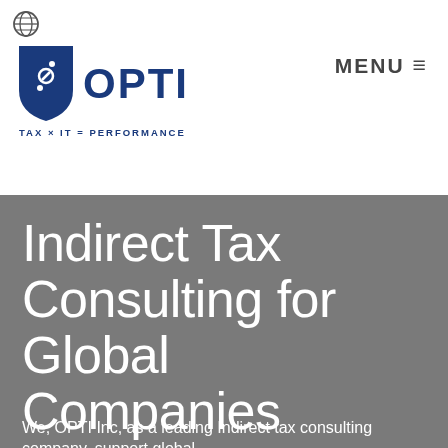[Figure (logo): Globe icon in top left corner]
[Figure (logo): OPTI logo with shield icon and tagline TAX x IT = PERFORMANCE in blue]
MENU ≡
Indirect Tax Consulting for Global Companies
We, OPTI Inc, as a leading Indirect tax consulting company, support global